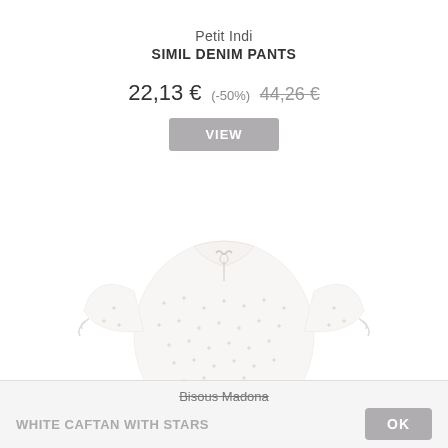Petit Indi
SIMIL DENIM PANTS
22,13 € (-50%) 44,26 €
VIEW
[Figure (photo): White caftan top with small star pattern print, flutter sleeves with ties, and keyhole neckline with bow tie detail, photographed on white background]
Bisous Madona
WHITE CAFTAN WITH STARS
OK